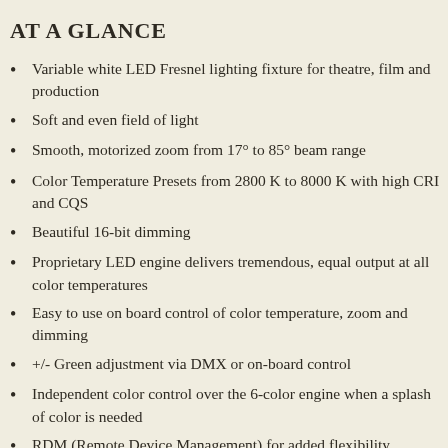AT A GLANCE
Variable white LED Fresnel lighting fixture for theatre, film and production
Soft and even field of light
Smooth, motorized zoom from 17° to 85° beam range
Color Temperature Presets from 2800 K to 8000 K with high CRI and CQS
Beautiful 16-bit dimming
Proprietary LED engine delivers tremendous, equal output at all color temperatures
Easy to use on board control of color temperature, zoom and dimming
+/- Green adjustment via DMX or on-board control
Independent color control over the 6-color engine when a splash of color is needed
RDM (Remote Device Management) for added flexibility